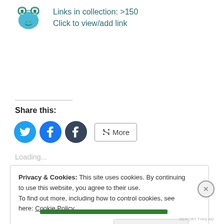[Figure (illustration): Blue cartoon frog icon with text: Links in collection: >150 / Click to view/add link]
Links in collection: >150
Click to view/add link
Share this:
[Figure (infographic): Social sharing buttons: Twitter (blue circle with bird icon), Facebook (blue circle with f icon), Tumblr (dark circle with t icon), More button with share icon]
Loading...
Privacy & Cookies: This site uses cookies. By continuing to use this website, you agree to their use.
To find out more, including how to control cookies, see here: Cookie Policy
Close and accept